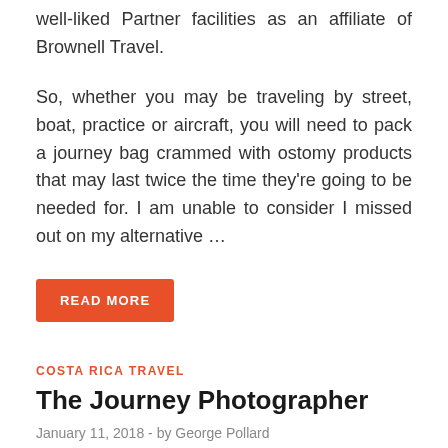well-liked Partner facilities as an affiliate of Brownell Travel.
So, whether you may be traveling by street, boat, practice or aircraft, you will need to pack a journey bag crammed with ostomy products that may last twice the time they're going to be needed for. I am unable to consider I missed out on my alternative ...
READ MORE
COSTA RICA TRAVEL
The Journey Photographer
January 11, 2018  -  by George Pollard